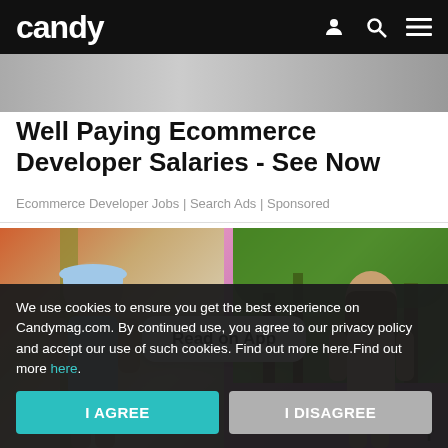candy
[Figure (photo): Top photo strip, grayscale, partially visible]
Well Paying Ecommerce Developer Salaries - See Now
Ecommerce Developer Jobs | Search Ads | Sponsored
[Figure (photo): Collage of two young women: left wearing a bucket hat in a bedroom setting, right wearing a pink outfit in an outdoor/garden setting with pink/purple gradient overlay and 'Read on App' button overlay]
We use cookies to ensure you get the best experience on Candymag.com. By continued use, you agree to our privacy policy and accept our use of such cookies. Find out more here.Find out more here.
I AGREE
I DISAGREE